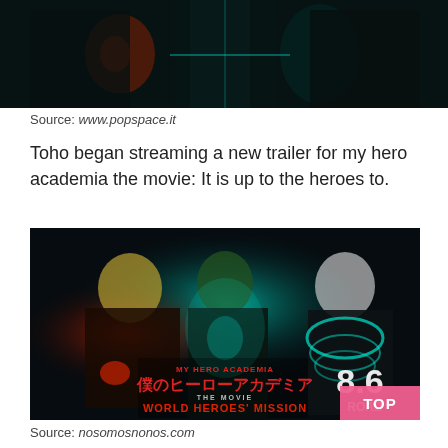[Figure (photo): Dark anime scene with glowing teal and orange/red energy effects on armored figures against a black background — top crop of a My Hero Academia movie screenshot]
Source: www.popspace.it
Toho began streaming a new trailer for my hero academia the movie: It is up to the heroes to.
[Figure (photo): My Hero Academia The Movie: World Heroes' Mission - movie poster image showing three main characters (Bakugo, Midoriya, Todoroki) in dark suits with glowing teal energy effects, with the movie logo and '8.6 ROAD' text, and a pink 'TOP' button overlay in the bottom right corner]
Source: nosomosnonos.com